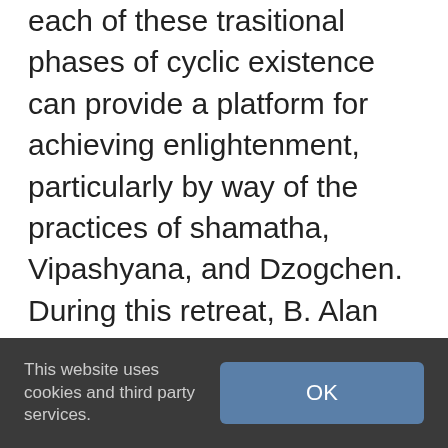each of these trasitional phases of cyclic existence can provide a platform for achieving enlightenment, particularly by way of the practices of shamatha, Vipashyana, and Dzogchen. During this retreat, B. Alan Wallace offers an explanation of Dujom Lingpas teachings, together with guided meditations for putting them into practice. All seven days of this retreat are reproduced in full in this two CD set, conveniently divided into teachings, meditations, and discussions. PDF files on the first disk include explanatory notes on the audio files, content descriptions...
This website uses cookies and third party services.